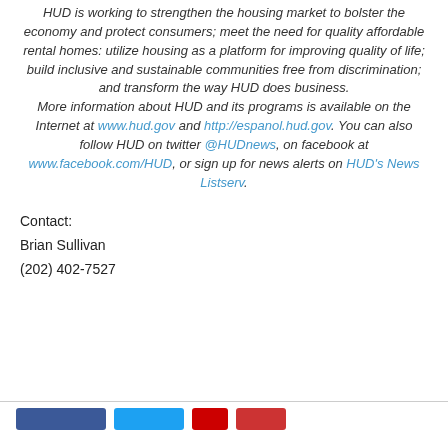HUD is working to strengthen the housing market to bolster the economy and protect consumers; meet the need for quality affordable rental homes: utilize housing as a platform for improving quality of life; build inclusive and sustainable communities free from discrimination; and transform the way HUD does business. More information about HUD and its programs is available on the Internet at www.hud.gov and http://espanol.hud.gov. You can also follow HUD on twitter @HUDnews, on facebook at www.facebook.com/HUD, or sign up for news alerts on HUD's News Listserv.
Contact:
Brian Sullivan
(202) 402-7527
[Figure (other): Social media button icons: Facebook (blue), Twitter (light blue), a red button, and another red button at the bottom of the page]